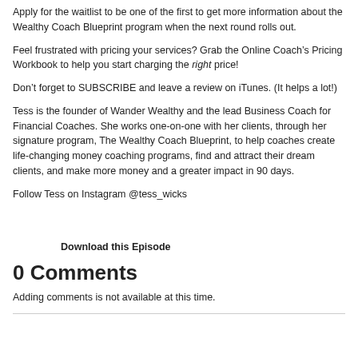Apply for the waitlist to be one of the first to get more information about the Wealthy Coach Blueprint program when the next round rolls out.
Feel frustrated with pricing your services? Grab the Online Coach’s Pricing Workbook to help you start charging the right price!
Don’t forget to SUBSCRIBE and leave a review on iTunes. (It helps a lot!)
Tess is the founder of Wander Wealthy and the lead Business Coach for Financial Coaches. She works one-on-one with her clients, through her signature program, The Wealthy Coach Blueprint, to help coaches create life-changing money coaching programs, find and attract their dream clients, and make more money and a greater impact in 90 days.
Follow Tess on Instagram @tess_wicks
Download this Episode
0 Comments
Adding comments is not available at this time.